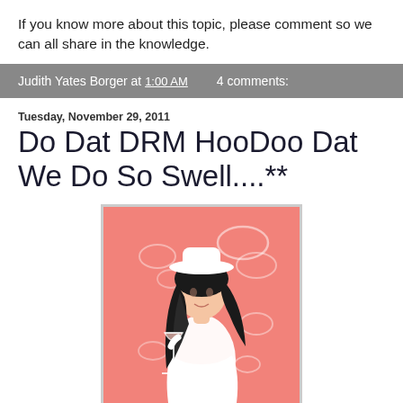If you know more about this topic, please comment so we can all share in the knowledge.
Judith Yates Borger at 1:00 AM    4 comments:
Tuesday, November 29, 2011
Do Dat DRM HooDoo Dat We Do So Swell....**
[Figure (illustration): Illustrated image of a stylish woman with long dark hair wearing a white hat and white outfit, holding a wine glass, on a pink/coral background with swirling white decorative elements.]